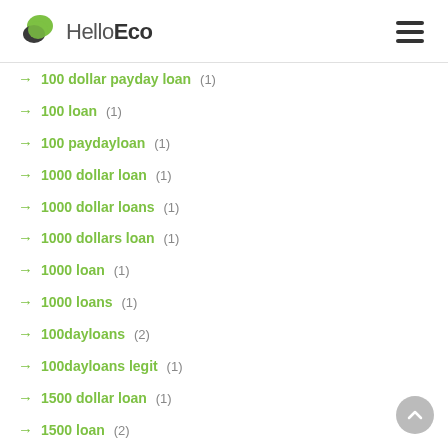HelloEco
→ 100 dollar payday loan (1)
→ 100 loan (1)
→ 100 paydayloan (1)
→ 1000 dollar loan (1)
→ 1000 dollar loans (1)
→ 1000 dollars loan (1)
→ 1000 loan (1)
→ 1000 loans (1)
→ 100dayloans (2)
→ 100dayloans legit (1)
→ 1500 dollar loan (1)
→ 1500 loan (2)
→ 1500 loan no credit check (2)